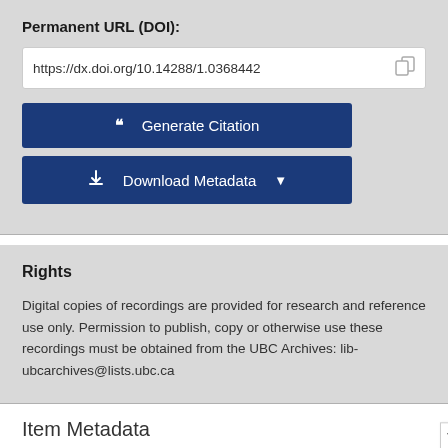Permanent URL (DOI):
https://dx.doi.org/10.14288/1.0368442
Generate Citation
Download Metadata
Rights
Digital copies of recordings are provided for research and reference use only. Permission to publish, copy or otherwise use these recordings must be obtained from the UBC Archives: lib-ubcarchives@lists.ubc.ca
Item Metadata
| Title |
| --- |
| UBC Conversation Segment (1983-05-03 AM) |